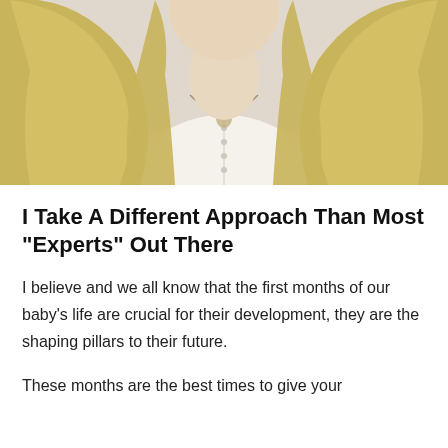[Figure (photo): Photograph of a blonde woman wearing a white cardigan and necklace, photo cropped to show from shoulders up, light background]
I Take A Different Approach Than Most "Experts" Out There
I believe and we all know that the first months of our baby's life are crucial for their development, they are the shaping pillars to their future.
These months are the best times to give your